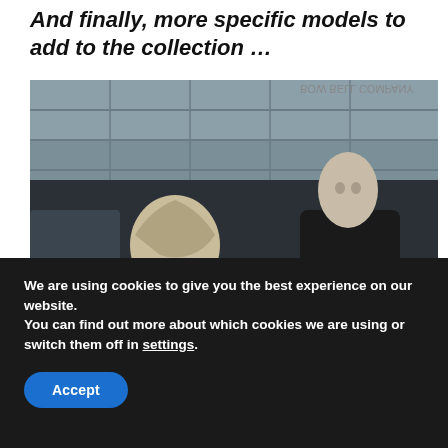And finally, more specific models to add to the collection …
[Figure (photo): A store window display showing two mannequins dressed in winter fashion. Left mannequin wears a white hoodie, right mannequin wears a dark top with a brown/tan puffer jacket and a black bag with gold zippers. The backdrop shows a modern glass building exterior reflected in the window.]
We are using cookies to give you the best experience on our website.
You can find out more about which cookies we are using or switch them off in settings.
Accept